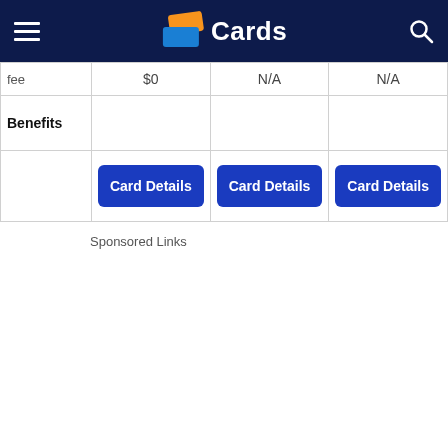Cards
|  | Col1 | Col2 | Col3 |
| --- | --- | --- | --- |
| fee | $0 | N/A | N/A |
| Benefits |  |  |  |
|  | Card Details | Card Details | Card Details |
Sponsored Links